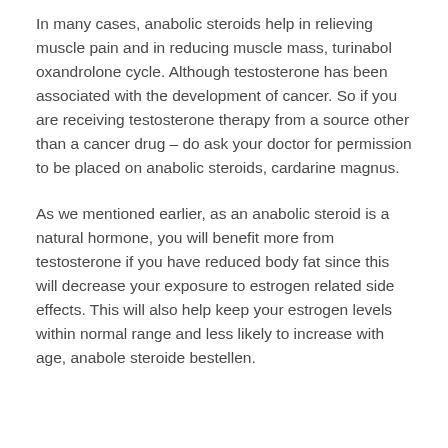In many cases, anabolic steroids help in relieving muscle pain and in reducing muscle mass, turinabol oxandrolone cycle. Although testosterone has been associated with the development of cancer. So if you are receiving testosterone therapy from a source other than a cancer drug – do ask your doctor for permission to be placed on anabolic steroids, cardarine magnus.
As we mentioned earlier, as an anabolic steroid is a natural hormone, you will benefit more from testosterone if you have reduced body fat since this will decrease your exposure to estrogen related side effects. This will also help keep your estrogen levels within normal range and less likely to increase with age, anabole steroide bestellen.